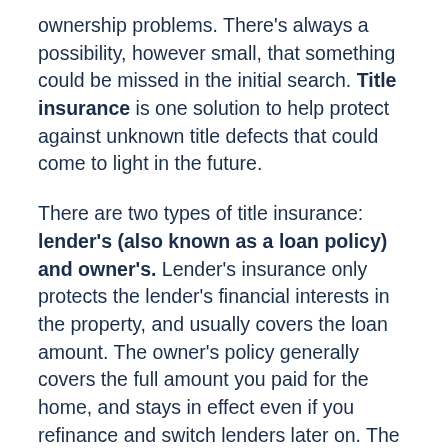ownership problems. There's always a possibility, however small, that something could be missed in the initial search. Title insurance is one solution to help protect against unknown title defects that could come to light in the future.
There are two types of title insurance: lender's (also known as a loan policy) and owner's. Lender's insurance only protects the lender's financial interests in the property, and usually covers the loan amount. The owner's policy generally covers the full amount you paid for the home, and stays in effect even if you refinance and switch lenders later on. The average cost of